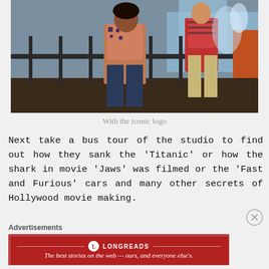[Figure (photo): People standing near a railing with a fountain in the background, outdoor scene at what appears to be a studio or tourist attraction]
With the iconic logo
Next take a bus tour of the studio to find out how they sank the 'Titanic' or how the shark in movie 'Jaws' was filmed or the 'Fast and Furious' cars and many other secrets of Hollywood movie making.
Advertisements
[Figure (other): Longreads advertisement banner: 'The best stories on the web — ours, and everyone else's.']